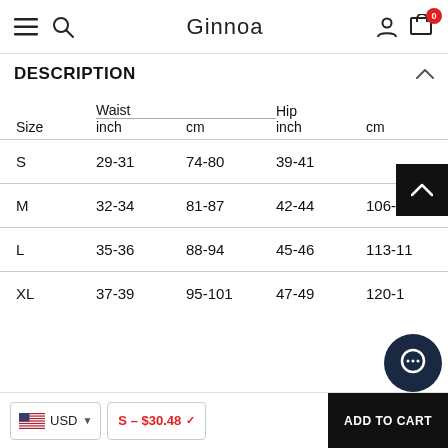Ginnoa
DESCRIPTION
| Size | Waist inch | Waist cm | Hip inch | Hip cm |
| --- | --- | --- | --- | --- |
| S | 29-31 | 74-80 | 39-41 |  |
| M | 32-34 | 81-87 | 42-44 | 106-1 |
| L | 35-36 | 88-94 | 45-46 | 113-11 |
| XL | 37-39 | 95-101 | 47-49 | 120-1 |